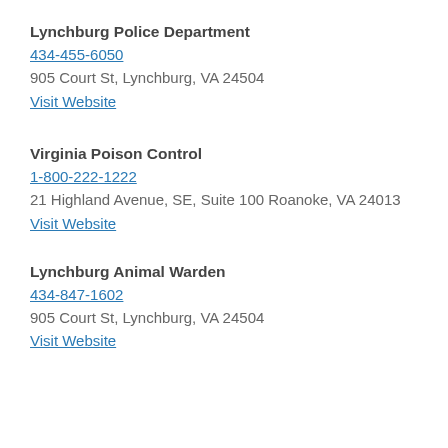Lynchburg Police Department
434-455-6050
905 Court St, Lynchburg, VA 24504
Visit Website
Virginia Poison Control
1-800-222-1222
21 Highland Avenue, SE, Suite 100 Roanoke, VA 24013
Visit Website
Lynchburg Animal Warden
434-847-1602
905 Court St, Lynchburg, VA 24504
Visit Website